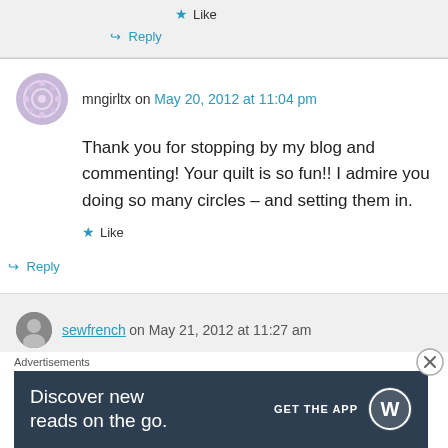★ Like
↪ Reply
mngirltx on May 20, 2012 at 11:04 pm
Thank you for stopping by my blog and commenting! Your quilt is so fun!! I admire you doing so many circles – and setting them in.
★ Like
↪ Reply
sewfrench on May 21, 2012 at 11:27 am
Advertisements
Discover new reads on the go. GET THE APP